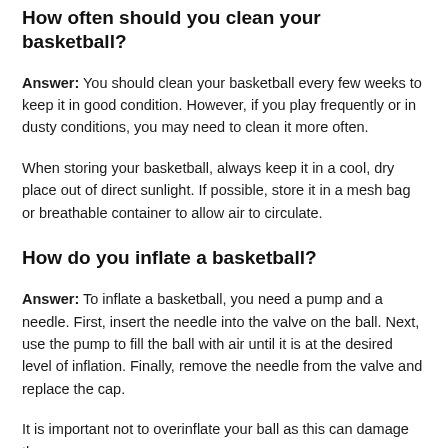How often should you clean your basketball?
Answer: You should clean your basketball every few weeks to keep it in good condition. However, if you play frequently or in dusty conditions, you may need to clean it more often.
When storing your basketball, always keep it in a cool, dry place out of direct sunlight. If possible, store it in a mesh bag or breathable container to allow air to circulate.
How do you inflate a basketball?
Answer: To inflate a basketball, you need a pump and a needle. First, insert the needle into the valve on the ball. Next, use the pump to fill the ball with air until it is at the desired level of inflation. Finally, remove the needle from the valve and replace the cap.
It is important not to overinflate your ball as this can damage the ball and reduce its lifespan.